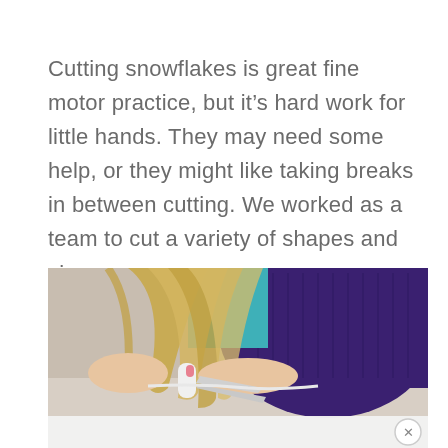Cutting snowflakes is great fine motor practice, but it's hard work for little hands. They may need some help, or they might like taking breaks in between cutting. We worked as a team to cut a variety of shapes and sizes.
[Figure (photo): A child with long blonde hair wearing a purple knit sweater and teal shirt, holding white scissors and cutting paper on a table. The lower portion shows scissors near paper, with an ad overlay at the bottom including a close (X) button.]